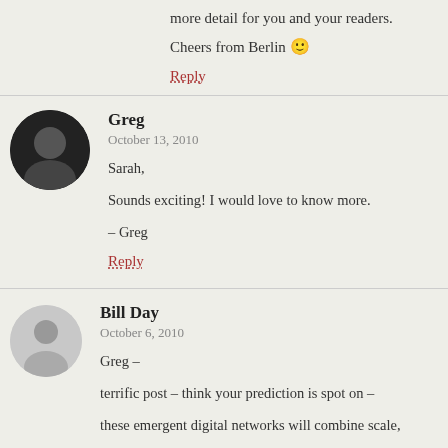more detail for you and your readers.
Cheers from Berlin 🙂
Reply
Greg
October 13, 2010
Sarah,
Sounds exciting! I would love to know more.
– Greg
Reply
Bill Day
October 6, 2010
Greg –
terrific post – think your prediction is spot on –
these emergent digital networks will combine scale,